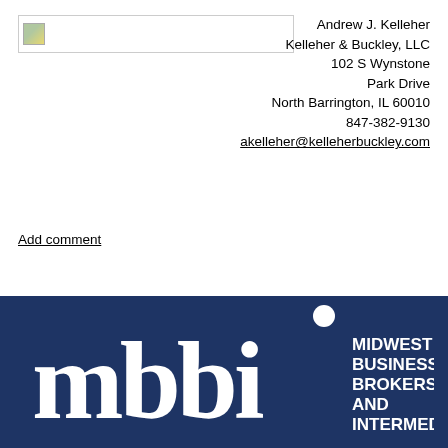[Figure (logo): Logo placeholder image (broken image icon) in top left]
Andrew J. Kelleher
Kelleher & Buckley, LLC
102 S Wynstone Park Drive
North Barrington, IL 60010
847-382-9130
akelleher@kelleherbuckley.com
Add comment
[Figure (logo): MBBI - Midwest Business Brokers and Intermediaries logo on dark navy blue background]